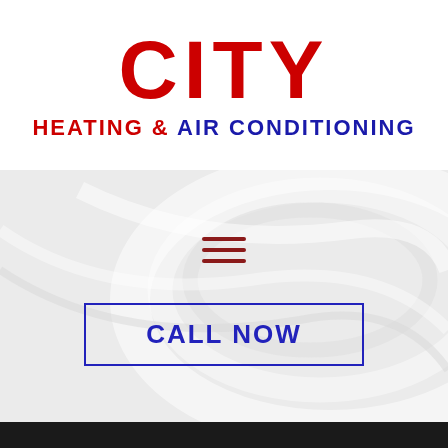CITY HEATING & AIR CONDITIONING
[Figure (infographic): Hamburger menu icon with three horizontal red-brown bars, centered on a light grey swirled background]
[Figure (infographic): CALL NOW button with blue text and blue border rectangle, centered on grey background]